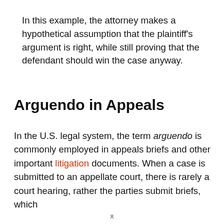In this example, the attorney makes a hypothetical assumption that the plaintiff's argument is right, while still proving that the defendant should win the case anyway.
Arguendo in Appeals
In the U.S. legal system, the term arguendo is commonly employed in appeals briefs and other important litigation documents. When a case is submitted to an appellate court, there is rarely a court hearing, rather the parties submit briefs, which
x